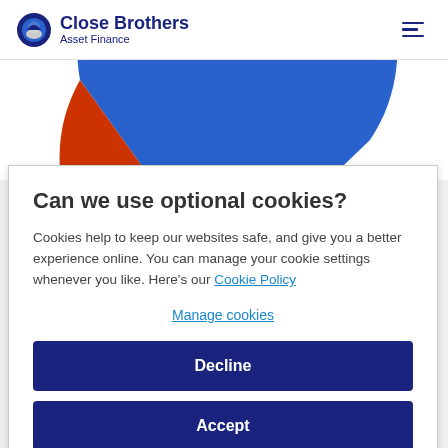[Figure (logo): Close Brothers Asset Finance logo with circular blue and grey icon]
[Figure (pie-chart): Partial pie chart visible at top of page, mostly blue with a small red/orange slice, cropped]
Can we use optional cookies?
Cookies help to keep our websites safe, and give you a better experience online. You can manage your cookie settings whenever you like. Here's our Cookie Policy
Manage cookies
Decline
Accept